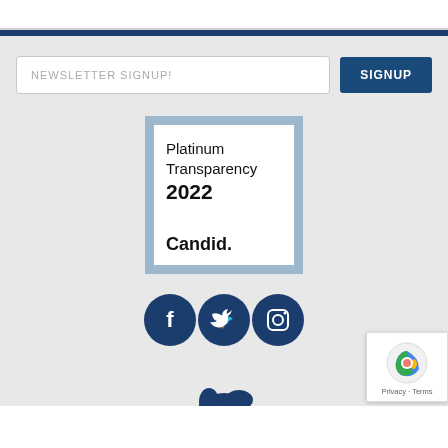[Figure (other): Top white bar with thin gray border at bottom]
[Figure (other): Dark navy blue horizontal divider bar]
NEWSLETTER SIGNUP!
SIGNUP
[Figure (other): Candid Platinum Transparency 2022 badge - blue bordered square containing white inner square with text: Platinum Transparency 2022 Candid.]
[Figure (other): Three dark blue circular social media icons: Facebook, Twitter, Instagram]
[Figure (illustration): Partial organization logo at bottom of page - dark blue animal figure]
[Figure (other): reCAPTCHA widget badge in bottom right corner showing Google reCAPTCHA logo with Privacy - Terms text]